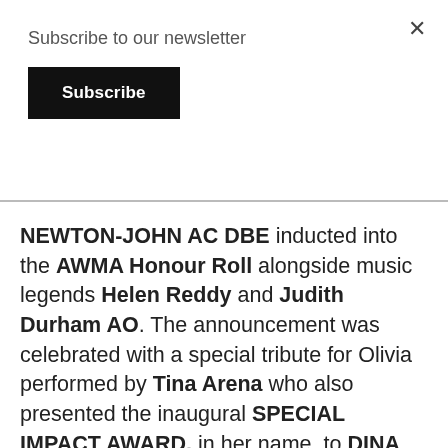Subscribe to our newsletter
Subscribe
NEWTON-JOHN AC DBE inducted into the AWMA Honour Roll alongside music legends Helen Reddy and Judith Durham AO. The announcement was celebrated with a special tribute for Olivia performed by Tina Arena who also presented the inaugural SPECIAL IMPACT AWARD, in her name, to DINA BASSILE for her pioneering work creating disability access for live